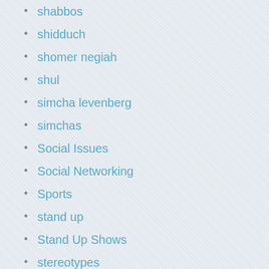shabbos
shidduch
shomer negiah
shul
simcha levenberg
simchas
Social Issues
Social Networking
Sports
stand up
Stand Up Shows
stereotypes
sukkos
Summer Camp
Technology
texas
The Gym
torah
Trips